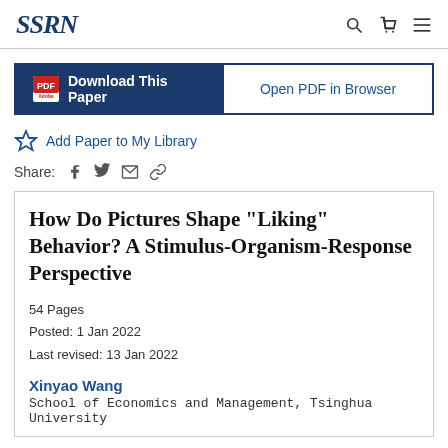SSRN
[Figure (screenshot): Download This Paper button (dark blue) and Open PDF in Browser button (outlined)]
Add Paper to My Library
Share:
How Do Pictures Shape "Liking" Behavior? A Stimulus-Organism-Response Perspective
54 Pages
Posted: 1 Jan 2022
Last revised: 13 Jan 2022
Xinyao Wang
School of Economics and Management, Tsinghua University